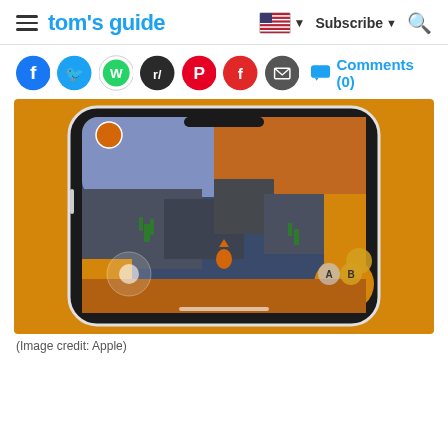tom's guide — Subscribe — Search
[Figure (other): Social media share icons: Facebook, Twitter, WhatsApp, Reddit, Pinterest, Flipboard, Email, and Comments (0) link]
[Figure (screenshot): Screenshot of a mobile game on an iPhone showing a fox character on rocky platforms with lava, featuring on-screen controls (joystick on left, A and B buttons on right). Orange background. Tom's Guide article image.]
(Image credit: Apple)